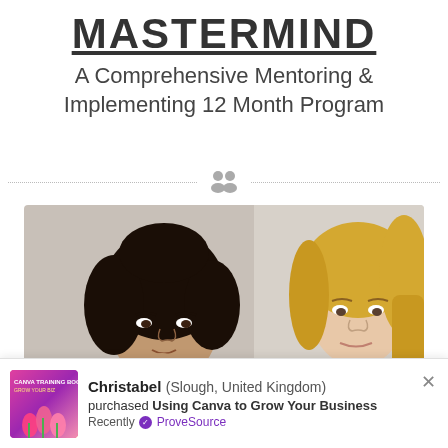MASTERMIND
A Comprehensive Mentoring & Implementing 12 Month Program
[Figure (illustration): Two people icon divider with dotted lines on either side]
[Figure (photo): Two women in a mentoring/business meeting setting — one with dark curly hair resting chin on hand, one with blonde hair looking on]
Christabel (Slough, United Kingdom) purchased Using Canva to Grow Your Business
Recently ✓ ProveSource